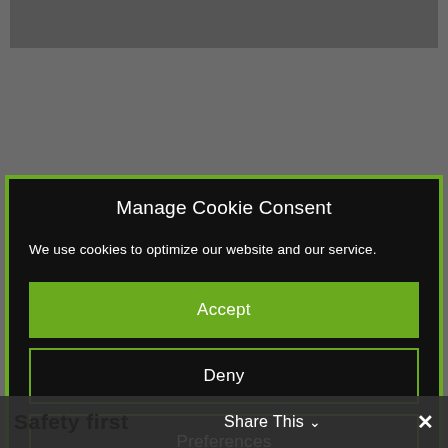[Figure (screenshot): Gray background with partial image visible at top]
Manage Cookie Consent
We use cookies to optimize our website and our service.
Accept
Deny
Preferences
Safety first
Share This ∨